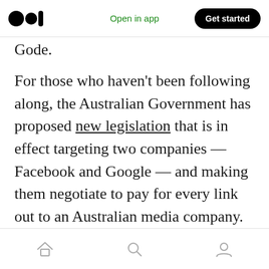Medium logo | Open in app | Get started
Gode.
For those who haven't been following along, the Australian Government has proposed new legislation that is in effect targeting two companies — Facebook and Google — and making them negotiate to pay for every link out to an Australian media company. If negotiations between the parties aren't successful — the next step is forced arbitration — and all indications suggest that it won't go well for Facebook and Google if it ends up there.
Home | Search | Profile